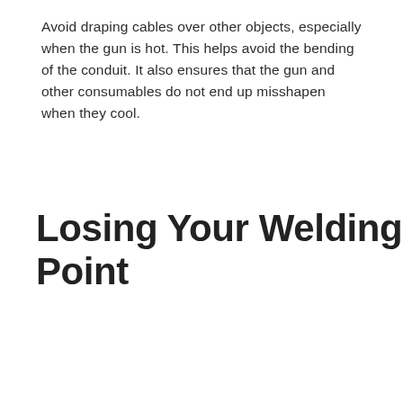Avoid draping cables over other objects, especially when the gun is hot. This helps avoid the bending of the conduit. It also ensures that the gun and other consumables do not end up misshapen when they cool.
Losing Your Welding Point